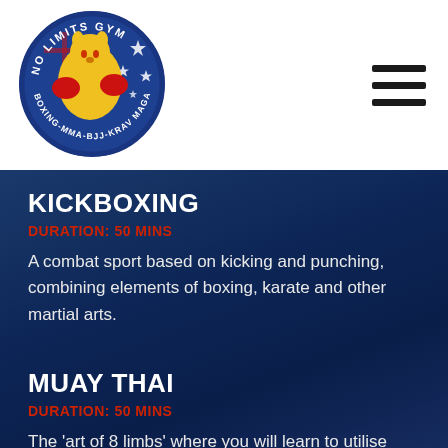[Figure (logo): No Limits Gym circular logo featuring a yellow kangaroo with red boxing gloves on an Australian flag background, with text reading NO LIMITS GYM and BOXING-MMA-BJJ-KRAV MAGA around the border]
KICKBOXING
DURATION: 50 MINS
A combat sport based on kicking and punching, combining elements of boxing, karate and other martial arts.
MUAY THAI
DURATION: 50 MINS
The 'art of 8 limbs' where you will learn to utilise